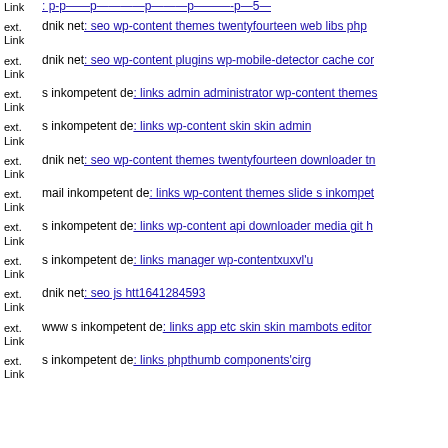ext. Link [partial link text cut off at top]
ext. Link dnik net: seo wp-content themes twentyfourteen web libs php
ext. Link dnik net: seo wp-content plugins wp-mobile-detector cache co...
ext. Link s inkompetent de: links admin administrator wp-content themes...
ext. Link s inkompetent de: links wp-content skin skin admin
ext. Link dnik net: seo wp-content themes twentyfourteen downloader tn...
ext. Link mail inkompetent de: links wp-content themes slide s inkompet...
ext. Link s inkompetent de: links wp-content api downloader media git h...
ext. Link s inkompetent de: links manager wp-contentxuxvl'u
ext. Link dnik net: seo js htt1641284593
ext. Link www s inkompetent de: links app etc skin skin mambots editor...
ext. Link s inkompetent de: links phpthumb components'cirg